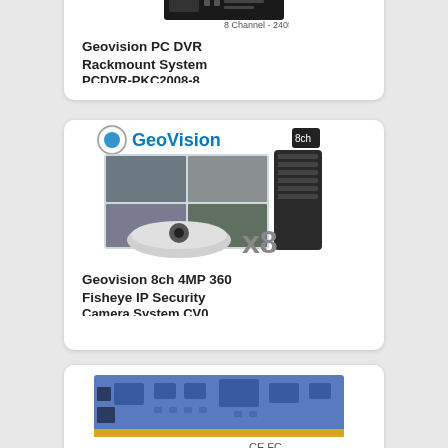[Figure (photo): Partial product card showing a black rack-mount DVR unit with label '8 Channel - 240fps H/W H.264', with product title 'Geovision PC DVR Rackmount System PCDVR-PKC2008-8' (partially cut off)]
8 Channel - 240fps H/W H.264
Geovision PC DVR Rackmount System PCDVR-PKC2008-8...
[Figure (photo): Product card showing GeoVision logo, an 8ch NVR tower unit, a multi-view security camera screen display, a fisheye dome camera, and 'x8' text. Product title: 'Geovision 8ch 4MP 360 Fisheye IP Security Camera System CV0...' (partially cut off)]
Geovision 8ch 4MP 360 Fisheye IP Security Camera System CV0...
[Figure (photo): Partial product card showing a blue PCIe capture card with gold edge connector and CE FC certification marks at the bottom right]